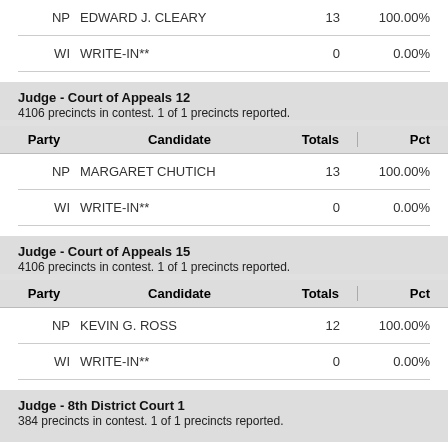| Party | Candidate | Totals | Pct |
| --- | --- | --- | --- |
| NP | EDWARD J. CLEARY | 13 | 100.00% |
| WI | WRITE-IN** | 0 | 0.00% |
Judge - Court of Appeals 12
4106 precincts in contest. 1 of 1 precincts reported.
| Party | Candidate | Totals | Pct |
| --- | --- | --- | --- |
| NP | MARGARET CHUTICH | 13 | 100.00% |
| WI | WRITE-IN** | 0 | 0.00% |
Judge - Court of Appeals 15
4106 precincts in contest. 1 of 1 precincts reported.
| Party | Candidate | Totals | Pct |
| --- | --- | --- | --- |
| NP | KEVIN G. ROSS | 12 | 100.00% |
| WI | WRITE-IN** | 0 | 0.00% |
Judge - 8th District Court 1
384 precincts in contest. 1 of 1 precincts reported.